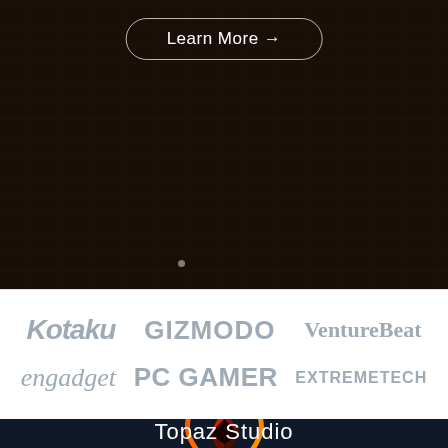[Figure (screenshot): Dark brown/black hero section of a website with a 'Learn More →' button outlined in white with rounded corners, and a small dot indicator below]
Learn More →
[Figure (screenshot): White section showing media publication logos in gray: Kotaku, GIZMODO, VentureBeat (top row); engadget, PC GAMER, EXTREMETECH (bottom row)]
[Figure (screenshot): Dark navy bottom section showing Topaz Studio logo (a gem/diamond shape in red-orange gradient) and the text 'Topaz Studio', with a blue circular chat bubble button in the bottom right]